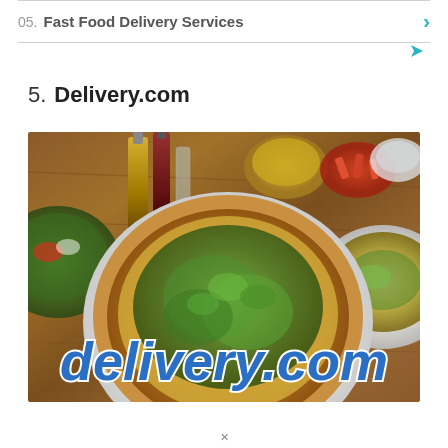05.  Fast Food Delivery Services
5.  Delivery.com
[Figure (photo): Overhead food photo showing a pizza with green toppings, pasta bowl, salad, condiment bottles, and spice bowls on a wooden table, with a 'delivery.com' logo overlaid in blue italic script at the bottom.]